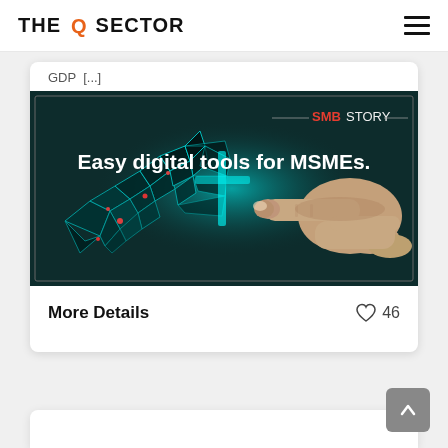THE Q SECTOR
GDP [...]
[Figure (photo): SMBStory branded image with text 'Easy digital tools for MSMEs.' showing a digital wireframe hand and a human hand almost touching, with teal/cyan light between them, on a dark background.]
More Details   ♡ 46